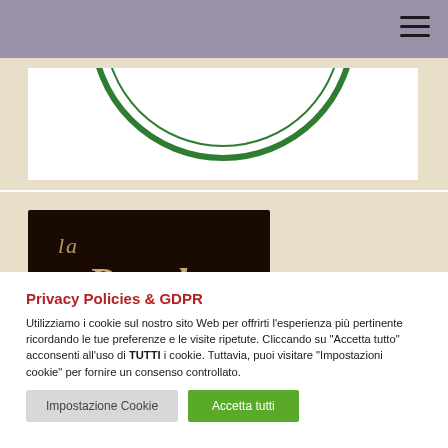Navigation bar with hamburger menu icon
[Figure (photo): Partial view of a circular green logo on white background within a beige card]
[Figure (logo): La Parola Online logo - dark brown/black background with italic script text reading 'la Parola Online' in golden/cream color]
Privacy Policies & GDPR
Utilizziamo i cookie sul nostro sito Web per offrirti l'esperienza più pertinente ricordando le tue preferenze e le visite ripetute. Cliccando su "Accetta tutto" acconsenti all'uso di TUTTI i cookie. Tuttavia, puoi visitare "Impostazioni cookie" per fornire un consenso controllato.
Impostazione Cookie | Accetta tutti